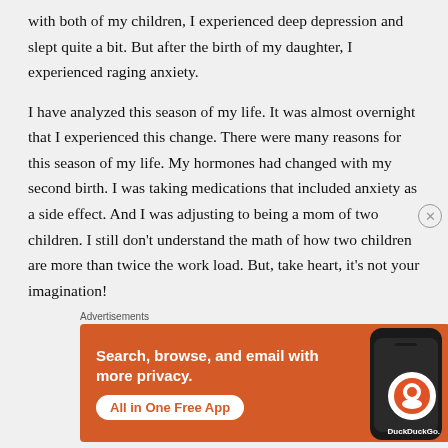with both of my children, I experienced deep depression and slept quite a bit. But after the birth of my daughter, I experienced raging anxiety.
I have analyzed this season of my life. It was almost overnight that I experienced this change. There were many reasons for this season of my life. My hormones had changed with my second birth. I was taking medications that included anxiety as a side effect. And I was adjusting to being a mom of two children. I still don’t understand the math of how two children are more than twice the work load. But, take heart, it’s not your imagination!
[Figure (other): DuckDuckGo advertisement banner with orange background. Text reads: Search, browse, and email with more privacy. All in One Free App. Shows a smartphone with DuckDuckGo logo.]